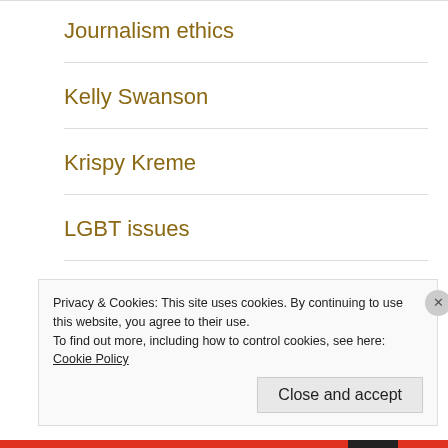Journalism ethics
Kelly Swanson
Krispy Kreme
LGBT issues
Libel
LSU
Privacy & Cookies: This site uses cookies. By continuing to use this website, you agree to their use.
To find out more, including how to control cookies, see here: Cookie Policy
Close and accept